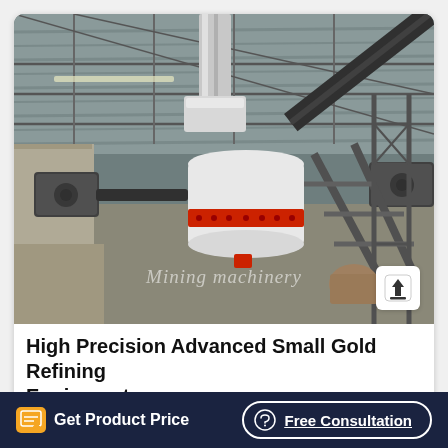[Figure (photo): Industrial photo of a cone crusher / gold refining machine inside a large factory warehouse. A white cylindrical crusher with red accent band is centrally mounted with a large pipe/duct running upward. Electric motors on left and right sides. A steep inclined conveyor belt on the right. Metal framework scaffolding visible. Large corrugated metal roof overhead. Watermark text 'Mining Machinery' in italic.]
High Precision Advanced Small Gold Refining Equipment
Get Product Price
Free Consultation